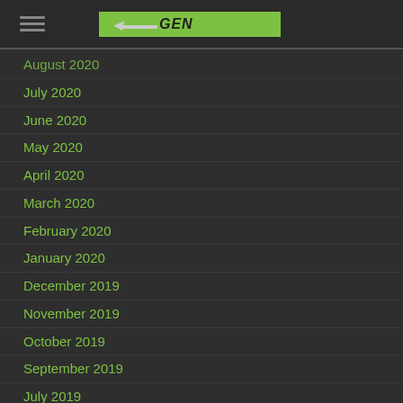GENTOOLING logo and navigation menu
August 2020
July 2020
June 2020
May 2020
April 2020
March 2020
February 2020
January 2020
December 2019
November 2019
October 2019
September 2019
July 2019
May 2019
April 2019
March 2019
February 2019
December 2018